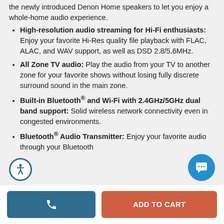the newly introduced Denon Home speakers to let you enjoy a whole-home audio experience.
High-resolution audio streaming for Hi-Fi enthusiasts: Enjoy your favorite Hi-Res quality file playback with FLAC, ALAC, and WAV support, as well as DSD 2.8/5.6MHz.
All Zone TV audio: Play the audio from your TV to another zone for your favorite shows without losing fully discrete surround sound in the main zone.
Built-in Bluetooth® and Wi-Fi with 2.4GHz/5GHz dual band support: Solid wireless network connectivity even in congested environments.
Bluetooth® Audio Transmitter: Enjoy your favorite audio through your Bluetooth